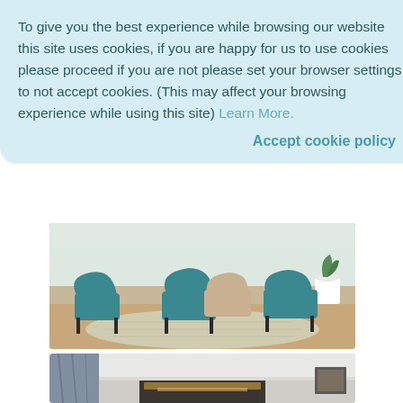To give you the best experience while browsing our website this site uses cookies, if you are happy for us to use cookies please proceed if you are not please set your browser settings to not accept cookies. (This may affect your browsing experience while using this site) Learn More.
Accept cookie policy
[Figure (photo): Interior photo showing teal velvet chairs with metal legs on a patterned rug, a plant in white pot in background, wooden flooring]
Bisham Abbey
View details
[Figure (photo): Interior hotel room photo showing grey curtains, white ceiling with cornice, a lit headboard and framed artwork]